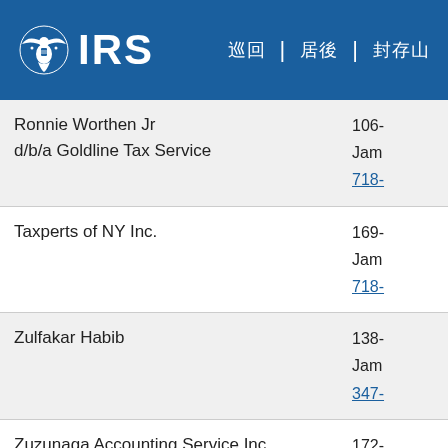IRS
| Name | Address/Phone |
| --- | --- |
| Ronnie Worthen Jr d/b/a Goldline Tax Service | 106-
Jam
718- |
| Taxperts of NY Inc. | 169-
Jam
718- |
| Zulfakar Habib | 138-
Jam
347- |
| Zuzunaga Accounting Service Inc. | 172-
Jam
718- |
| Gideon Pro Services LLC | #12
Jeri |